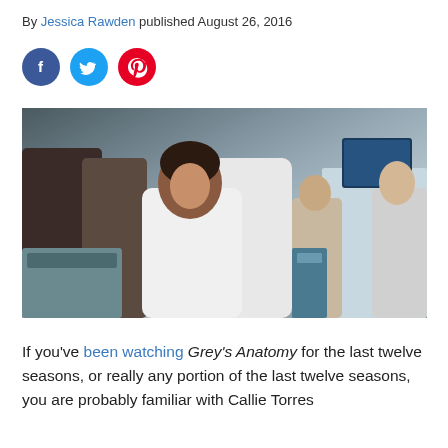By Jessica Rawden published August 26, 2016
[Figure (other): Social media share icons: Facebook (blue circle with f), Twitter (blue circle with bird), Pinterest (red circle with P)]
[Figure (photo): Scene from Grey's Anatomy showing two characters hugging in a hospital setting. A woman in a white coat is being hugged by another character. Hospital equipment and staff visible in the background.]
If you've been watching Grey's Anatomy for the last twelve seasons, or really any portion of the last twelve seasons, you are probably familiar with Callie Torres